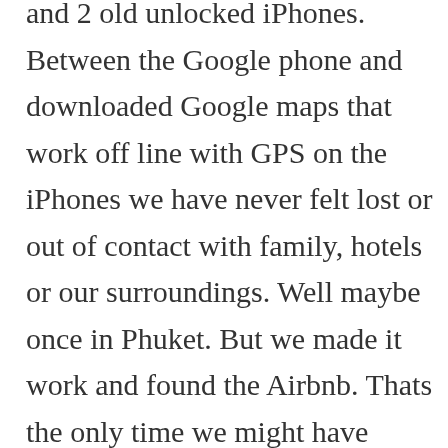We only have one phone between us and 2 old unlocked iPhones. Between the Google phone and downloaded Google maps that work off line with GPS on the iPhones we have never felt lost or out of contact with family, hotels or our surroundings. Well maybe once in Phuket. But we made it work and found the Airbnb. Thats the only time we might have needed 2 phones.

And our bill has only once or twice this year gone over $50. Most of the